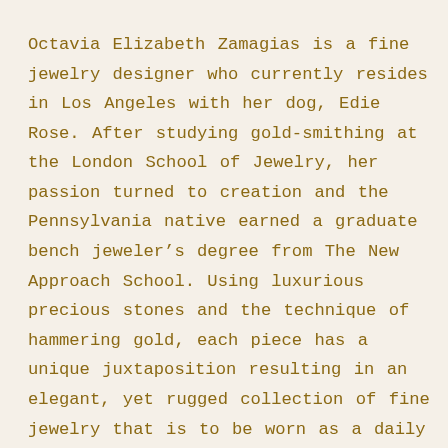Octavia Elizabeth Zamagias is a fine jewelry designer who currently resides in Los Angeles with her dog, Edie Rose. After studying gold-smithing at the London School of Jewelry, her passion turned to creation and the Pennsylvania native earned a graduate bench jeweler’s degree from The New Approach School. Using luxurious precious stones and the technique of hammering gold, each piece has a unique juxtaposition resulting in an elegant, yet rugged collection of fine jewelry that is to be worn as a daily indulgence. Octavia Elizabeth’s eponymous collection aims to defy the dainty and dinky with durable